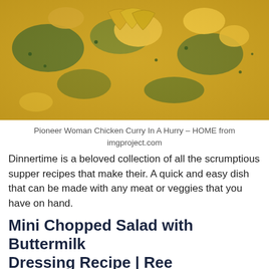[Figure (photo): Close-up photo of a yellow chicken curry dish with green herbs and orange/yellow pieces of chicken in a bowl, viewed from above.]
Pioneer Woman Chicken Curry In A Hurry – HOME from imgproject.com
Dinnertime is a beloved collection of all the scrumptious supper recipes that make their. A quick and easy dish that can be made with any meat or veggies that you have on hand.
Mini Chopped Salad with Buttermilk Dressing Recipe | Ree
[Figure (photo): Close-up photo of a chopped salad with lettuce and red vegetables in a glass bowl, partially cropped at the bottom of the page.]